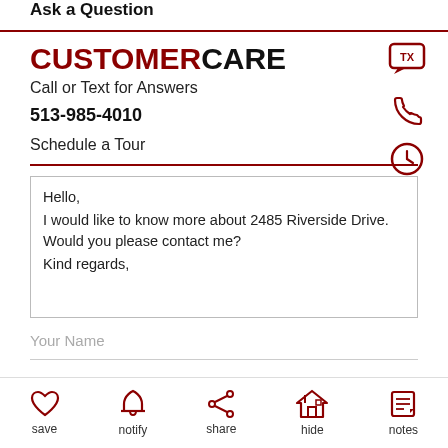Ask a Question
CUSTOMERCARE
Call or Text for Answers
513-985-4010
Schedule a Tour
[Figure (illustration): Text message icon, phone icon, and clock icon on the right side of the customer care section]
Hello,
I would like to know more about 2485 Riverside Drive. Would you please contact me?
Kind regards,
Your Name
Email
[Figure (illustration): Bottom navigation bar with save (heart), notify (bell), share, hide (house), and notes icons in dark red]